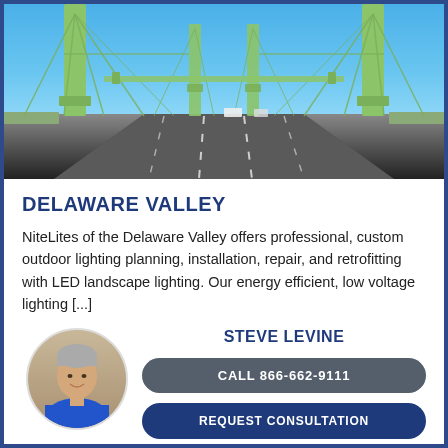[Figure (photo): View from inside a suspension bridge roadway with green steel towers, cables, and cars on the road under a blue sky]
DELAWARE VALLEY
NiteLites of the Delaware Valley offers professional, custom outdoor lighting planning, installation, repair, and retrofitting with LED landscape lighting. Our energy efficient, low voltage lighting [...]
STEVE LEVINE
[Figure (photo): Portrait of Steve Levine, a man with gray hair wearing a blue shirt, shown in a circular crop]
CALL 866-662-9111
REQUEST CONSULTATION